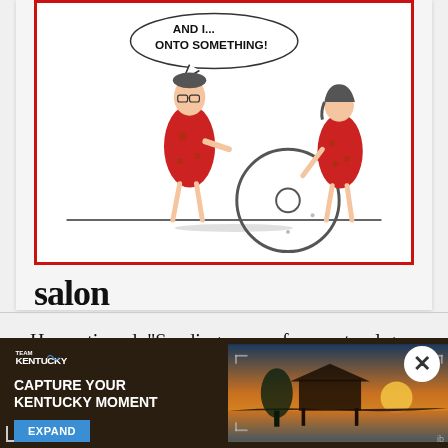[Figure (illustration): A Salon-branded cartoon showing two prehistoric cave people in red spotted clothing standing near a large stone wheel. A speech bubble reads 'AND I... ONTO SOMETHING!' The cartoon has a red border.]
salon
He continued, "Sending more of our natural gas resources abroad, instead of keeping more of it here for consumers and manufacturers and providing a
[Figure (photo): Team Kentucky advertisement banner showing a sunset landscape photo with a pavilion silhouette. Text reads 'CAPTURE YOUR KENTUCKY MOMENT' with an EXPAND button. Has a close (X) button in top right corner.]